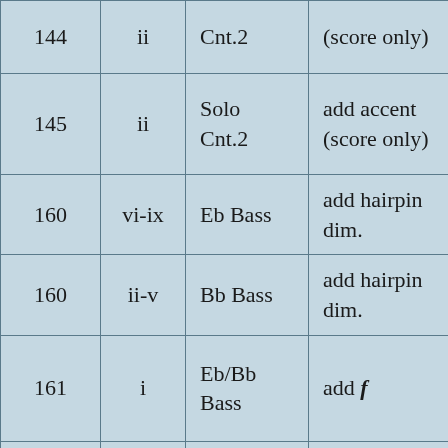| Measure | Beat | Instrument/Part | Correction/Note |
| --- | --- | --- | --- |
| 144 | ii | Cnt.2 | (score only) |
| 145 | ii | Solo
Cnt.2 | add accent
(score only) |
| 160 | vi-ix | Eb Bass | add hairpin dim. |
| 160 | ii-v | Bb Bass | add hairpin dim. |
| 161 | i | Eb/Bb
Bass | add f |
| 170 | i | Rep Cnt. | add accent (as 171) |
|  |  |  | add hairpin dim. |